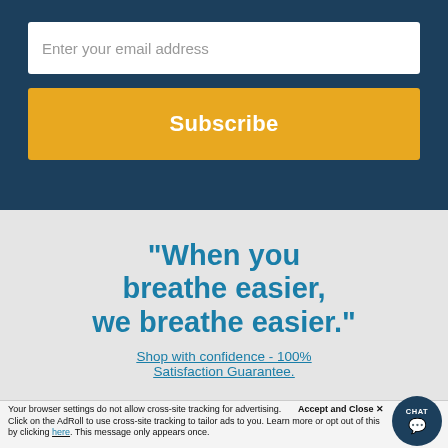Enter your email address
Subscribe
"When you breathe easier, we breathe easier."
Shop with confidence - 100% Satisfaction Guarantee.
Accept and Close ×
Your browser settings do not allow cross-site tracking for advertising. Click on the AdRoll to use cross-site tracking to tailor ads to you. Learn more or opt out of this by clicking here. This message only appears once.
[Figure (other): CHAT button widget in bottom right corner]